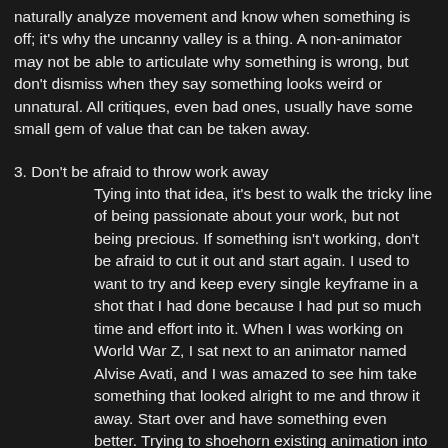naturally analyze movement and know when something is off; it's why the uncanny valley is a thing. A non-animator may not be able to articulate why something is wrong, but don't dismiss when they say something looks weird or unnatural. All critiques, even bad ones, usually have some small gem of value that can be taken away.
3. Don't be afraid to throw work away
Tying into that idea, it's best to walk the tricky line of being passionate about your work, but not being precious. If something isn't working, don't be afraid to cut it out and start again. I used to want to try and keep every single keyframe in a shot that I had done because I had put so much time and effort into it. When I was working on World War Z, I sat next to an animator named Alvise Avati, and I was amazed to see him take something that looked alright to me and throw it away. Start over and have something even better. Trying to shoehorn existing animation into a new idea could be holding your animation back.